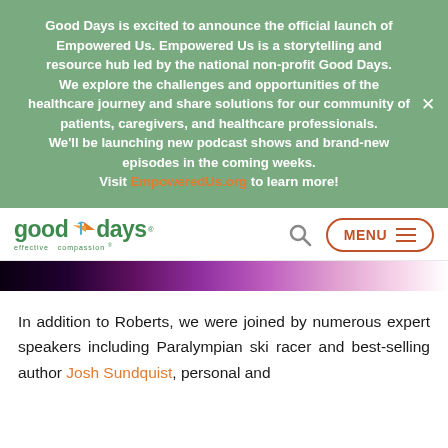Good Days is excited to announce the official launch of Empowered Us. Empowered Us is a storytelling and resource hub led by the national non-profit Good Days. We explore the challenges and opportunities of the healthcare journey and share solutions for our community of patients, caregivers, and healthcare professionals. We'll be launching new podcast shows and brand-new episodes in the coming weeks. Visit EmpoweredUs.org to learn more!
[Figure (logo): Good Days logo with orange bird/leaf accent and tagline 'effective compassion']
[Figure (screenshot): Navigation bar with search icon and MENU button with hamburger lines, colored in orange/brown]
[Figure (photo): Partial hero image strip showing purple and white tones]
In addition to Roberts, we were joined by numerous expert speakers including Paralympian ski racer and best-selling author Josh Sundquist, personal and